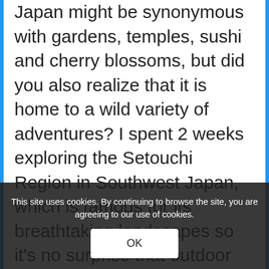Japan might be synonymous with gardens, temples, sushi and cherry blossoms, but did you also realize that it is home to a wild variety of adventures? I spent 2 weeks exploring the Setouchi Region in Southwest Japan, which is famous for its breathtaking landscapes so it's no surprise that outdoor adventures are plentiful here. I had no idea that Japan looked like this! We explored beaches and coasts, clear waters, rugged mountains, sweeping valleys and iconic cities throughout this region, and it is the adventures that stand out to me most. Here is a list of my favorite experiences throughout the region. Note that since Setouchi is a... Seto Inland Sea, each of these experiences have to do with
This site uses cookies. By continuing to browse the site, you are agreeing to our use of cookies.
OK